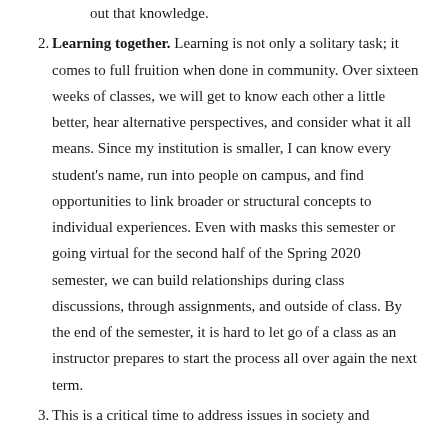out that knowledge.
2. Learning together. Learning is not only a solitary task; it comes to full fruition when done in community. Over sixteen weeks of classes, we will get to know each other a little better, hear alternative perspectives, and consider what it all means. Since my institution is smaller, I can know every student's name, run into people on campus, and find opportunities to link broader or structural concepts to individual experiences. Even with masks this semester or going virtual for the second half of the Spring 2020 semester, we can build relationships during class discussions, through assignments, and outside of class. By the end of the semester, it is hard to let go of a class as an instructor prepares to start the process all over again the next term.
3. This is a critical time to address issues in society and